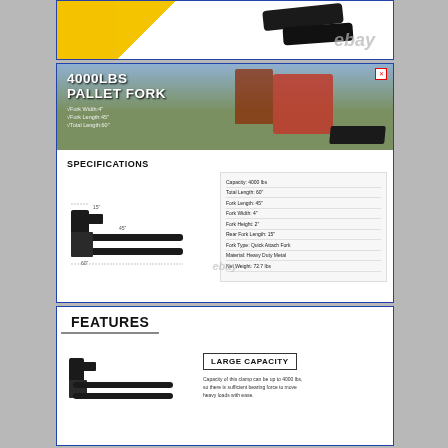[Figure (photo): Top cropped product panel showing a yellow and white background with what appears to be a strap/belt product and eBay watermark]
[Figure (infographic): 4000LBS PALLET FORK product banner with farm/tractor background image, fork specs overlay text, and product specifications table showing: Capacity 4000 lbs, Total Length 60", Fork Length 45", Fork Width 4", Fork Height 2", Rear Fork Length 15", Fork Type Quick Attach Fork, Material Heavy Duty Metal, Net Weight 72.7 lbs]
[Figure (infographic): FEATURES section showing pallet fork image on left and LARGE CAPACITY label with description text: Capacity of this clamp can be up to 4000 lbs, so there is sufficient bearing force to move heavy loads with ease]